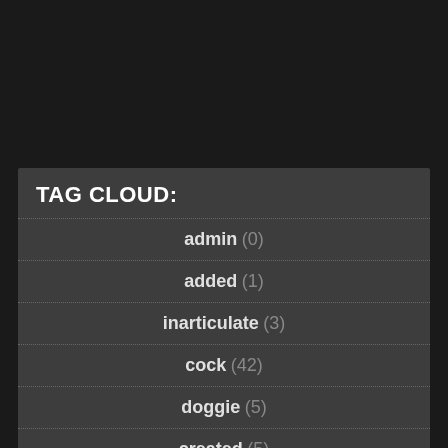TAG CLOUD:
admin (0)
added (1)
inarticulate (3)
cock (42)
doggie (5)
created (5)
multiple (1)
smaller (3)